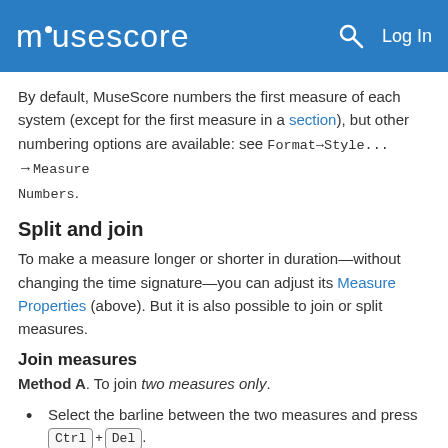musescore   Log In
By default, MuseScore numbers the first measure of each system (except for the first measure in a section), but other numbering options are available: see Format→Style...→Measure Numbers.
Split and join
To make a measure longer or shorter in duration—without changing the time signature—you can adjust its Measure Properties (above). But it is also possible to join or split measures.
Join measures
Method A. To join two measures only.
Select the barline between the two measures and press Ctrl+Del.
Method B. To join any number of measures: